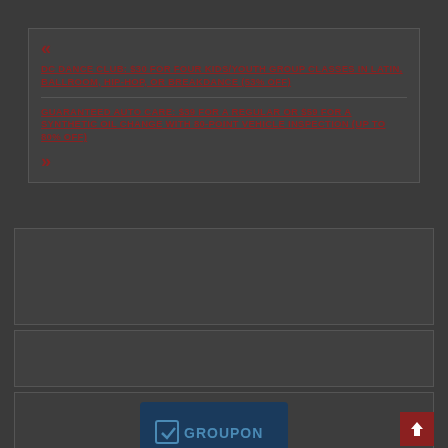«
DC DANCE CLUB: $30 FOR FOUR KIDS/YOUTH GROUP CLASSES IN LATIN, BALLROOM, HIP-HOP, OR BREAKDANCE (53% OFF)
GUARANTEED AUTO CARE: $39 FOR A REGULAR OR $59 FOR A SYNTHETIC OIL CHANGE WITH 80-POINT VEHICLE INSPECTION (UP TO 80% OFF)
»
[Figure (screenshot): Dark gray content area boxes]
[Figure (logo): Groupon logo on dark blue card]
[Figure (other): Red share/upload button with upward arrow icon]